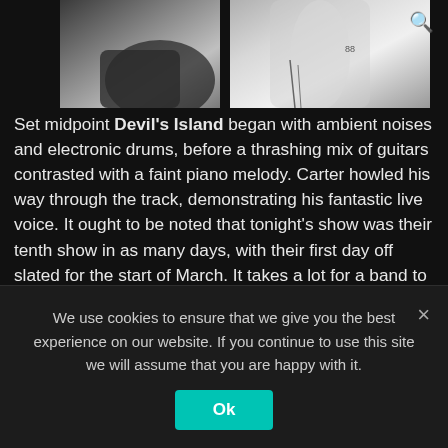[Figure (photo): Black and white concert photo split into two panels showing close-up of performer/guitarist]
Set midpoint Devil's Island began with ambient noises and electronic drums, before a thrashing mix of guitars contrasted with a faint piano melody. Carter howled his way through the track, demonstrating his fantastic live voice. It ought to be noted that tonight's show was their tenth show in as many days, with their first day off slated for the start of March. It takes a lot for a band to power through such an adrenaline filled set night after night, so huge credits to Architects for managing so long. Early cut Follow the Water, lifted from 2009's Hollow Cross, was one of the more
We use cookies to ensure that we give you the best experience on our website. If you continue to use this site we will assume that you are happy with it.
Ok